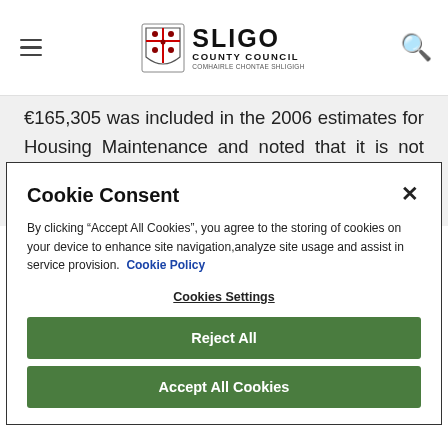Sligo County Council
€165,305 was included in the 2006 estimates for Housing Maintenance and noted that it is not anticipated that it will be possible to increase this
Cookie Consent
By clicking "Accept All Cookies", you agree to the storing of cookies on your device to enhance site navigation, analyze site usage and assist in service provision. Cookie Policy
Cookies Settings
Reject All
Accept All Cookies